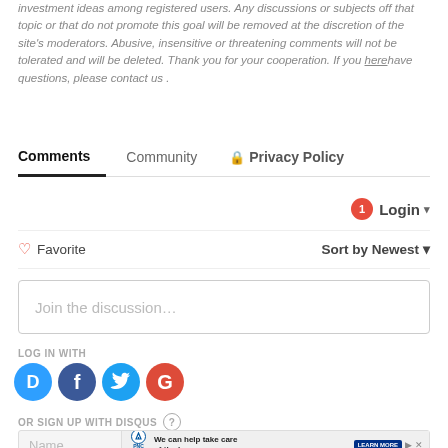investment ideas among registered users. Any discussions or subjects off that topic or that do not promote this goal will be removed at the discretion of the site's moderators. Abusive, insensitive or threatening comments will not be tolerated and will be deleted. Thank you for your cooperation. If you herehave questions, please contact us .
Comments   Community   🔒 Privacy Policy
🔔1  Login ▾
♡ Favorite   Sort by Newest ▾
Join the discussion…
LOG IN WITH
[Figure (logo): Social login icons: Disqus (blue speech bubble with D), Facebook (dark blue circle with f), Twitter (blue circle with bird), Google (red circle with G)]
OR SIGN UP WITH DISQUS ?
Name